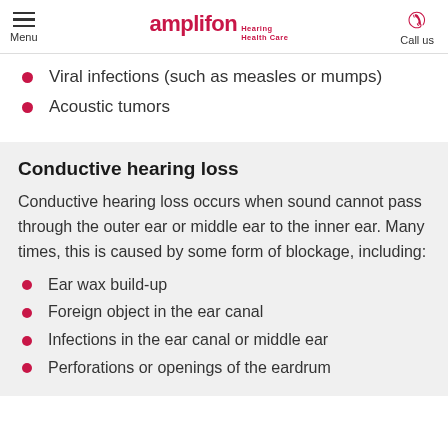Menu | amplifon Hearing Health Care | Call us
Viral infections (such as measles or mumps)
Acoustic tumors
Conductive hearing loss
Conductive hearing loss occurs when sound cannot pass through the outer ear or middle ear to the inner ear. Many times, this is caused by some form of blockage, including:
Ear wax build-up
Foreign object in the ear canal
Infections in the ear canal or middle ear
Perforations or openings of the eardrum